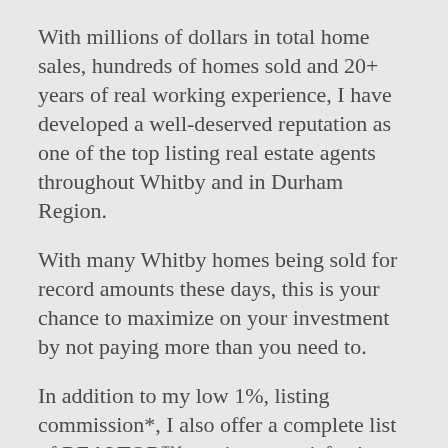With millions of dollars in total home sales, hundreds of homes sold and 20+ years of real working experience, I have developed a well-deserved reputation as one of the top listing real estate agents throughout Whitby and in Durham Region.
With many Whitby homes being sold for record amounts these days, this is your chance to maximize on your investment by not paying more than you need to.
In addition to my low 1%, listing commission*, I also offer a complete list of REALTOR™ services, a satisfaction-guaranteed cancellation agreement and a working guarantee that I will sell your Whitby home.
If you want a top-dollar offer on your Whitby-area home in days – and sometimes even just hours –